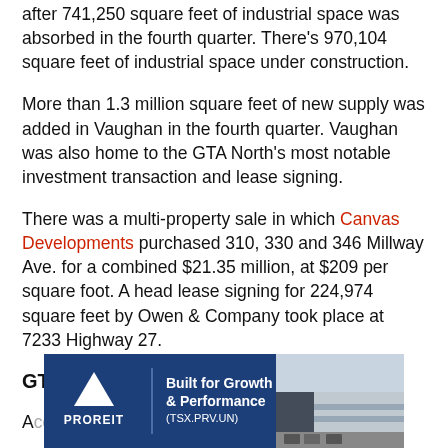after 741,250 square feet of industrial space was absorbed in the fourth quarter. There's 970,104 square feet of industrial space under construction.
More than 1.3 million square feet of new supply was added in Vaughan in the fourth quarter. Vaughan was also home to the GTA North's most notable investment transaction and lease signing.
There was a multi-property sale in which Canvas Developments purchased 310, 330 and 346 Millway Ave. for a combined $21.35 million, at $209 per square foot. A head lease signing for 224,974 square feet by Owen & Company took place at 7233 Highway 27.
GTA West
A...
[Figure (infographic): PROREIT advertisement banner with blue background. Left side shows PROREIT logo with white triangle above bold white text. Center shows tagline 'Built for Growth & Performance (TSX.PRV.UN)'. Right side shows photo of industrial building.]